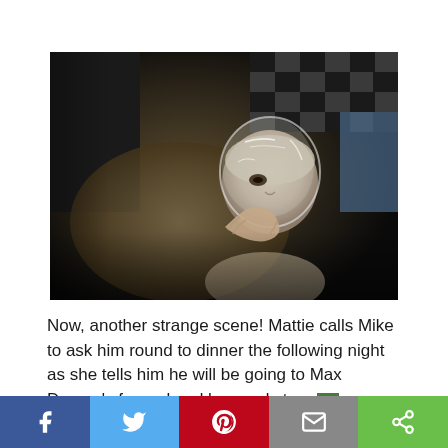[Figure (photo): Dark cinematic still showing an elderly person with a plastic bag over their head, being held down by hands. Scene from a TV show or film adaptation.]
Now, another strange scene! Mattie calls Mike to ask him round to dinner the following night as she tells him he will be going to Max Devore's funeral and he needs to re...